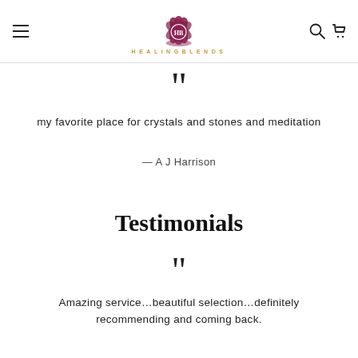HEALINGBLENDS
my favorite place for crystals and stones and meditation
— A J Harrison
Testimonials
Amazing service...beautiful selection...definitely recommending and coming back.